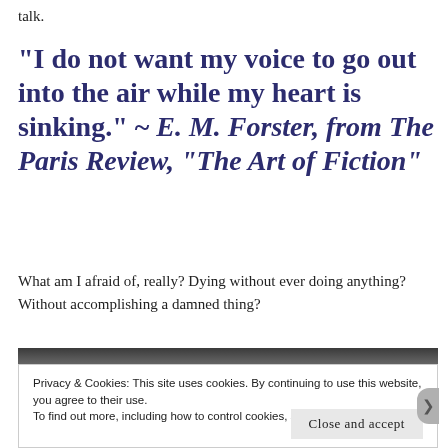talk.
“I do not want my voice to go out into the air while my heart is sinking.” ~ E. M. Forster, from The Paris Review, “The Art of Fiction”
What am I afraid of, really? Dying without ever doing anything? Without accomplishing a damned thing?
[Figure (photo): Dark horizontal image strip, appears to be a photograph]
Privacy & Cookies: This site uses cookies. By continuing to use this website, you agree to their use.
To find out more, including how to control cookies, see here: Cookie Policy
Close and accept